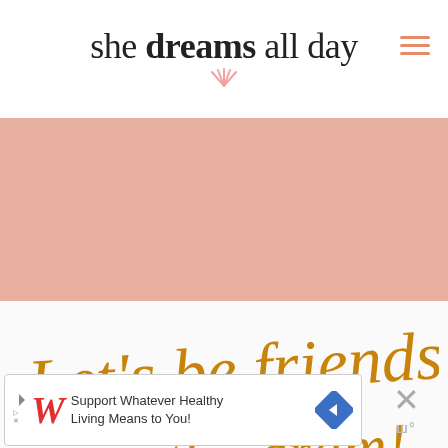she dreams all day
[Figure (illustration): Pink/salmon colored banner rectangle below the site header]
[Figure (illustration): Handwritten golden/amber script text reading "Let's be friends on the gram!"]
[Figure (illustration): Advertisement banner: Walgreens logo with text 'Support Whatever Healthy Living Means to You!' with navigation arrow icon and close button]